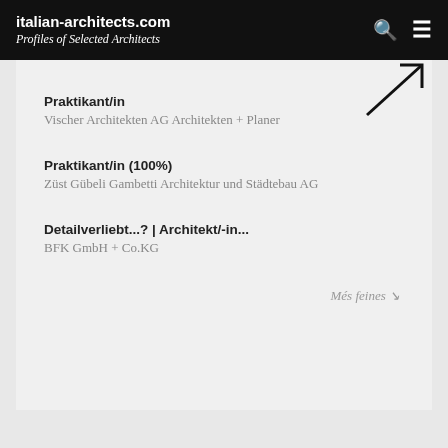italian-architects.com — Profiles of Selected Architects
Praktikant/in
Vischer Architekten AG Architekten + Planer
Praktikant/in (100%)
Züst Gübeli Gambetti Architektur und Städtebau AG
Detailverliebt...? | Architekt/-in...
BFK GmbH + Co.KG
Més feines ↘